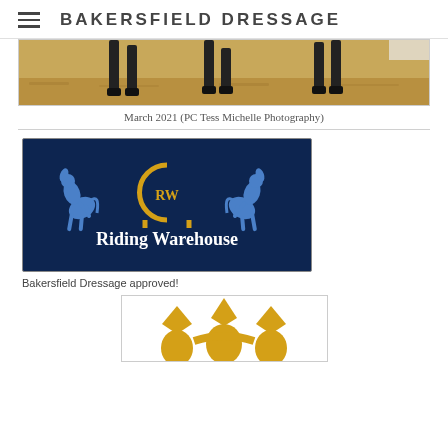BAKERSFIELD DRESSAGE
[Figure (photo): Cropped photo showing horse legs trotting on sandy arena ground]
March 2021 (PC Tess Michelle Photography)
[Figure (logo): Riding Warehouse logo on dark navy background with two blue rearing horses flanking a gold horseshoe with RW monogram, and white text reading Riding Warehouse]
Bakersfield Dressage approved!
[Figure (logo): Partial gold fleur-de-lis or crown-like ornamental logo, partially cropped at bottom of page]